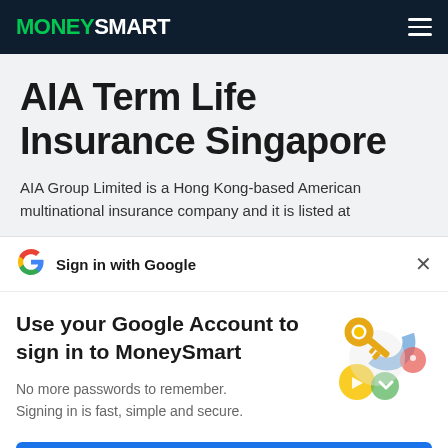MONEYSMART
AIA Term Life Insurance Singapore
AIA Group Limited is a Hong Kong-based American multinational insurance company and it is listed at
[Figure (logo): Google G logo]
Sign in with Google
Use your Google Account to sign in to MoneySmart
No more passwords to remember. Signing in is fast, simple and secure.
[Figure (illustration): Google key illustration with colorful circles and a golden key]
Continue